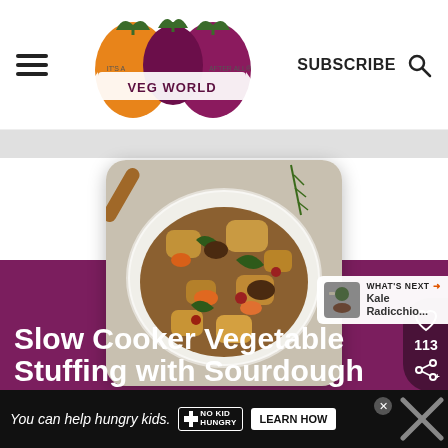[Figure (logo): Veg World After All website logo with vegetable icons (carrot, beet) and banner text]
SUBSCRIBE
[Figure (photo): Food photo of slow cooker vegetable stuffing with sourdough in a white oval baking dish, viewed from above]
113
WHAT'S NEXT → Kale Radicchio...
Slow Cooker Vegetable Stuffing with Sourdough
You can help hungry kids. NO KID HUNGRY LEARN HOW